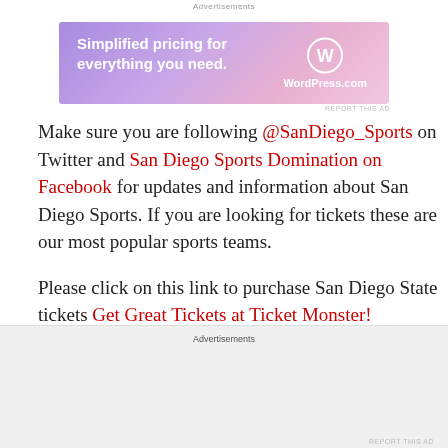Advertisements
[Figure (other): WordPress.com advertisement banner: 'Simplified pricing for everything you need.' with WordPress.com logo]
Make sure you are following @SanDiego_Sports on Twitter and San Diego Sports Domination on Facebook for updates and information about San Diego Sports. If you are looking for tickets these are our most popular sports teams.
Please click on this link to purchase San Diego State tickets Get Great Tickets at Ticket Monster!
Please click on this link to purchase San Diego Chargers tickets Get Great Tickets at Ticket Monster!
Advertisements